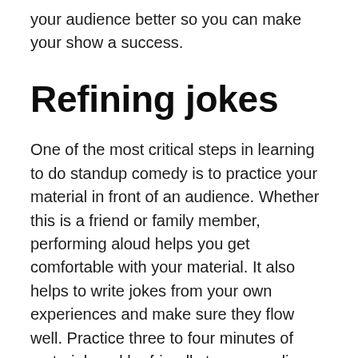your audience better so you can make your show a success.
Refining jokes
One of the most critical steps in learning to do standup comedy is to practice your material in front of an audience. Whether this is a friend or family member, performing aloud helps you get comfortable with your material. It also helps to write jokes from your own experiences and make sure they flow well. Practice three to four minutes of material, and be friendly to your audience and other comedians. When performing at a comedy club or venue, be courteous to all involved, including the owner of the